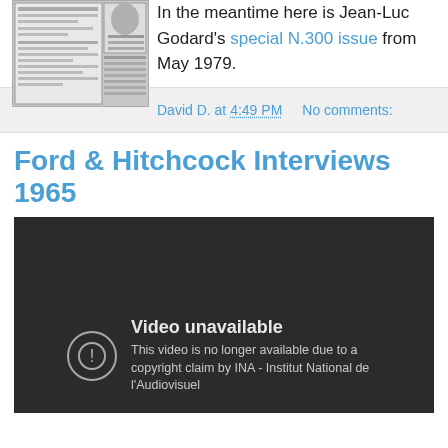In the meantime here is Jean-Luc Godard's special N.300 issue from May 1979.
David D. at 4:49 PM   No comments:
Ford & Hitchcock Interviews 1965
[Figure (screenshot): Embedded video player showing 'Video unavailable' message: 'This video is no longer available due to a copyright claim by INA - Institut National de l'Audiovisuel']